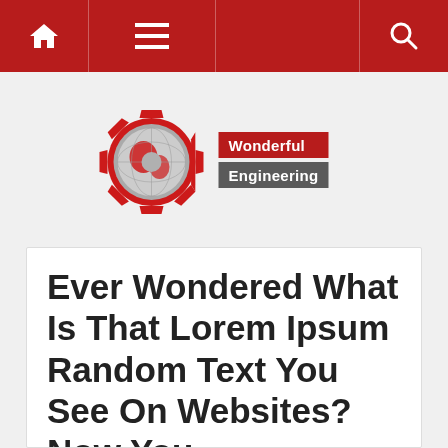Navigation bar with home, menu, and search icons
[Figure (logo): Wonderful Engineering logo: red gear with globe, text 'Wonderful Engineering']
Ever Wondered What Is That Lorem Ipsum Random Text You See On Websites? Now You